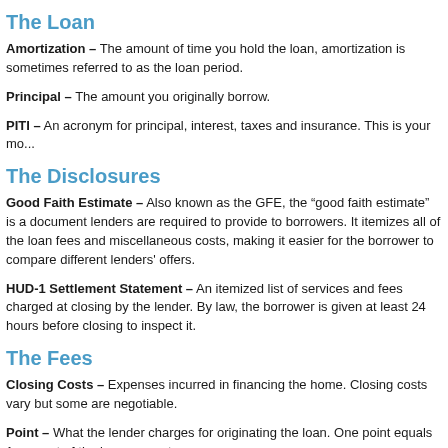The Loan
Amortization – The amount of time you hold the loan, amortization is sometimes referred to as the loan period.
Principal – The amount you originally borrow.
PITI – An acronym for principal, interest, taxes and insurance. This is your mo...
The Disclosures
Good Faith Estimate – Also known as the GFE, the "good faith estimate" is a document lenders are required to provide to borrowers. It itemizes all of the loan fees and miscellaneous costs, making it easier for the borrower to compare different lenders' offers.
HUD-1 Settlement Statement – An itemized list of services and fees charged at closing by the lender. By law, the borrower is given at least 24 hours before closing to inspect it.
The Fees
Closing Costs – Expenses incurred in financing the home. Closing costs vary but some are negotiable.
Point – What the lender charges for originating the loan. One point equals 1 percent of the loan amount.